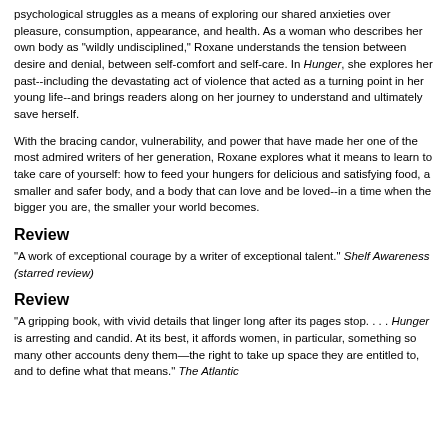psychological struggles as a means of exploring our shared anxieties over pleasure, consumption, appearance, and health. As a woman who describes her own body as "wildly undisciplined," Roxane understands the tension between desire and denial, between self-comfort and self-care. In Hunger, she explores her past--including the devastating act of violence that acted as a turning point in her young life--and brings readers along on her journey to understand and ultimately save herself.
With the bracing candor, vulnerability, and power that have made her one of the most admired writers of her generation, Roxane explores what it means to learn to take care of yourself: how to feed your hungers for delicious and satisfying food, a smaller and safer body, and a body that can love and be loved--in a time when the bigger you are, the smaller your world becomes.
Review
"A work of exceptional courage by a writer of exceptional talent." Shelf Awareness (starred review)
Review
"A gripping book, with vivid details that linger long after its pages stop. . . . Hunger is arresting and candid. At its best, it affords women, in particular, something so many other accounts deny them—the right to take up space they are entitled to, and to define what that means." The Atlantic